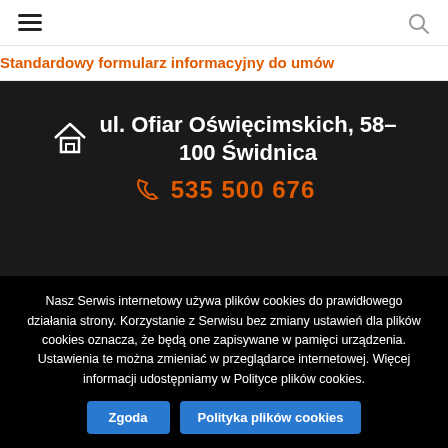☰ [hamburger menu] [search icon]
Standardowy formularz informacyjny do umów
ul. Ofiar Oświęcimskich, 58-100 Świdnica
535 500 676
Nasz Serwis internetowy używa plików cookies do prawidłowego działania strony. Korzystanie z Serwisu bez zmiany ustawień dla plików cookies oznacza, że będą one zapisywane w pamięci urządzenia. Ustawienia te można zmieniać w przeglądarce internetowej. Więcej informacji udostępniamy w Polityce plików cookies.
Zgoda
Polityka plików cookies